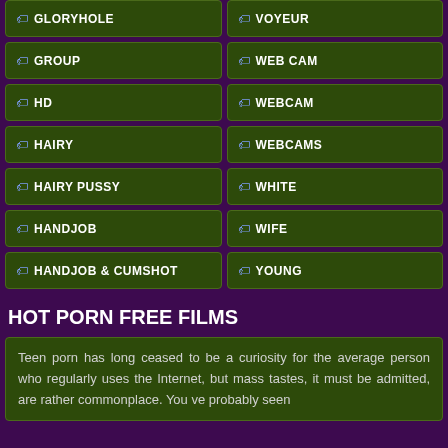GLORYHOLE
VOYEUR
GROUP
WEB CAM
HD
WEBCAM
HAIRY
WEBCAMS
HAIRY PUSSY
WHITE
HANDJOB
WIFE
HANDJOB & CUMSHOT
YOUNG
HOT PORN FREE FILMS
Teen porn has long ceased to be a curiosity for the average person who regularly uses the Internet, but mass tastes, it must be admitted, are rather commonplace. You ve probably seen